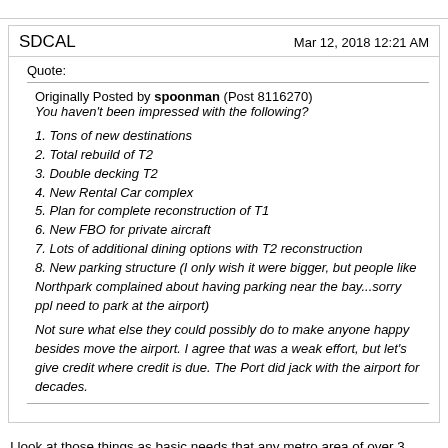SDCAL
Mar 12, 2018 12:21 AM
Quote:
Originally Posted by spoonman (Post 8116270)
You haven’t been impressed with the following?
1. Tons of new destinations
2. Total rebuild of T2
3. Double decking T2
4. New Rental Car complex
5. Plan for complete reconstruction of T1
6. New FBO for private aircraft
7. Lots of additional dining options with T2 reconstruction
8. New parking structure (I only wish it were bigger, but people like Northpark complained about having parking near the bay...sorry ppl need to park at the airport)
Not sure what else they could possibly do to make anyone happy besides move the airport. I agree that was a weak effort, but let’s give credit where credit is due. The Port did jack with the airport for decades.
I look at those things as basic needs that any metro area of over 3 million people would have in an airport. I mean ours isn’t anything